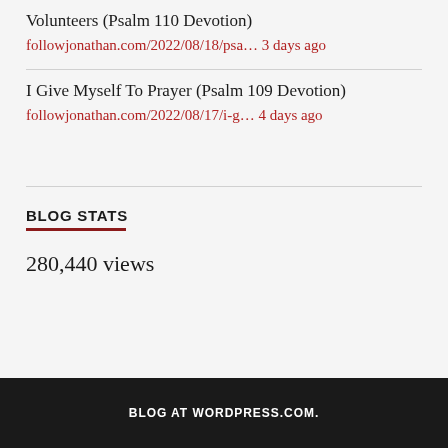Volunteers (Psalm 110 Devotion)
followjonathan.com/2022/08/18/psa… 3 days ago
I Give Myself To Prayer (Psalm 109 Devotion)
followjonathan.com/2022/08/17/i-g… 4 days ago
BLOG STATS
280,440 views
BLOG AT WORDPRESS.COM.